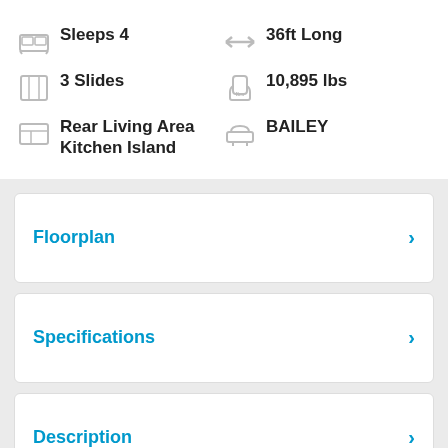Sleeps 4
36ft Long
3 Slides
10,895 lbs
Rear Living Area Kitchen Island
BAILEY
Floorplan
Specifications
Description
Features
Factory Brochure